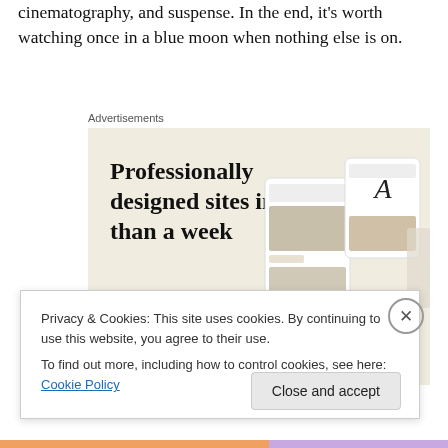cinematography, and suspense. In the end, it's worth watching once in a blue moon when nothing else is on.
Advertisements
[Figure (screenshot): WordPress advertisement showing 'Professionally designed sites in less than a week' with an 'Explore options' button on a beige background, with website screenshots on the right side and WordPress logo at the bottom left.]
Privacy & Cookies: This site uses cookies. By continuing to use this website, you agree to their use.
To find out more, including how to control cookies, see here: Cookie Policy